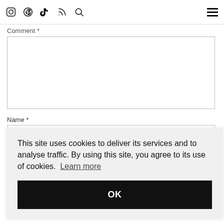Social media icons: Instagram, Pinterest, TikTok, RSS, Search | Hamburger menu
Comment *
Name *
E
W
This site uses cookies to deliver its services and to analyse traffic. By using this site, you agree to its use of cookies. Learn more
OK